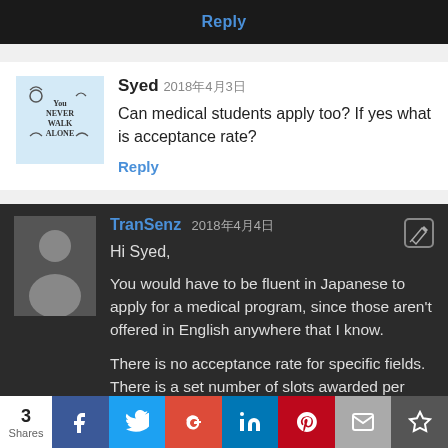Reply
Syed 2018年4月3日
Can medical students apply too? If yes what is acceptance rate?
Reply
TranSenz 2018年4月4日
Hi Syed,
You would have to be fluent in Japanese to apply for a medical program, since those aren't offered in English anywhere that I know.
There is no acceptance rate for specific fields. There is a set number of slots awarded per
3 Shares